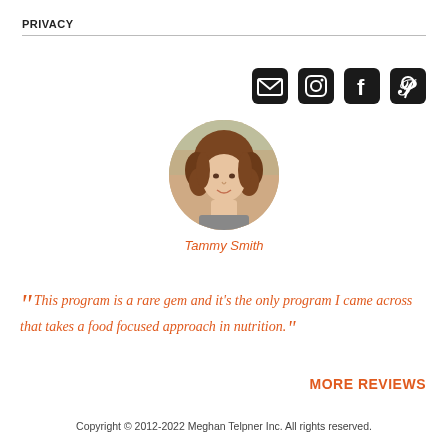PRIVACY
[Figure (illustration): Four social media icons: email/envelope, Instagram, Facebook, Pinterest — black rounded square style]
[Figure (photo): Circular profile photo of Tammy Smith, a woman with curly brown hair, smiling]
Tammy Smith
“This program is a rare gem and it’s the only program I came across that takes a food focused approach in nutrition.”
MORE REVIEWS
Copyright © 2012-2022 Meghan Telpner Inc. All rights reserved.